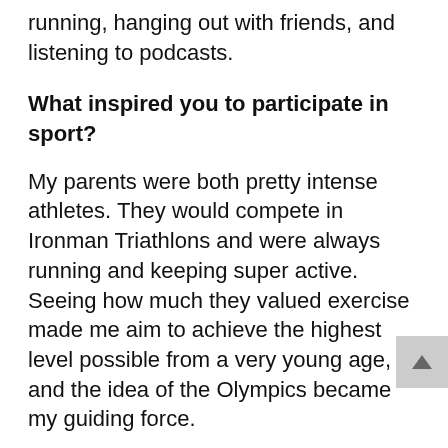running, hanging out with friends, and listening to podcasts.
What inspired you to participate in sport?
My parents were both pretty intense athletes. They would compete in Ironman Triathlons and were always running and keeping super active. Seeing how much they valued exercise made me aim to achieve the highest level possible from a very young age, and the idea of the Olympics became my guiding force.
What qualities of a leader do you appreciate most? Why?
I love leaders who use emotional